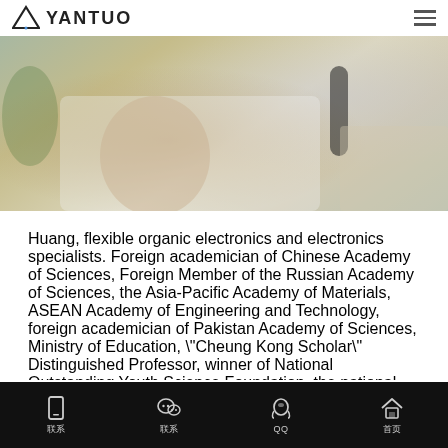YANTUO
[Figure (photo): A person in a white lab coat or professional attire, photographed in an indoor setting, appearing to be interviewed or speaking.]
Huang, flexible organic electronics and electronics specialists. Foreign academician of Chinese Academy of Sciences, Foreign Member of the Russian Academy of Sciences, the Asia-Pacific Academy of Materials, ASEAN Academy of Engineering and Technology, foreign academician of Pakistan Academy of Sciences, Ministry of Education, "Cheung Kong Scholar" Distinguished Professor, winner of National Outstanding Youth Science Foundation, the national "973" project chief the scientist. Academician Huang is the first in the world in polymer light emitting diode display and long-term research active in one
联系  联系  QQ  首页